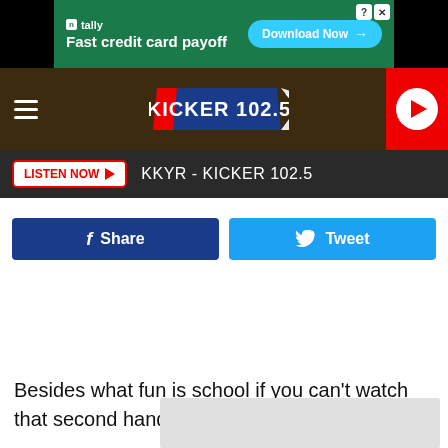[Figure (screenshot): Tally fast credit card payoff advertisement banner with Download Now button]
[Figure (logo): Kicker 102.5 radio station logo in header with hamburger menu and play button]
LISTEN NOW  KKYR - KICKER 102.5
[Figure (infographic): Facebook Share and Twitter Tweet social sharing buttons]
Besides what fun is school if you can't watch that second hand c